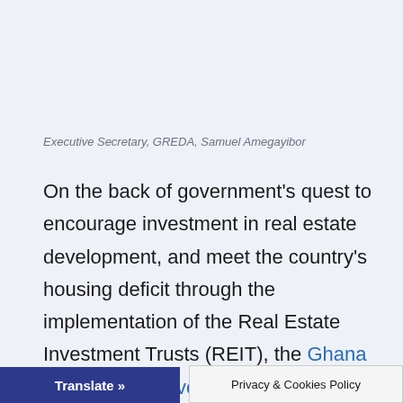Executive Secretary, GREDA, Samuel Amegayibor
On the back of government's quest to encourage investment in real estate development, and meet the country's housing deficit through the implementation of the Real Estate Investment Trusts (REIT), the Ghana Real Estate Developers Association (GREDA) has lauded the initiative, saying, this will give them the needed funding.
Translate »
Privacy & Cookies Policy